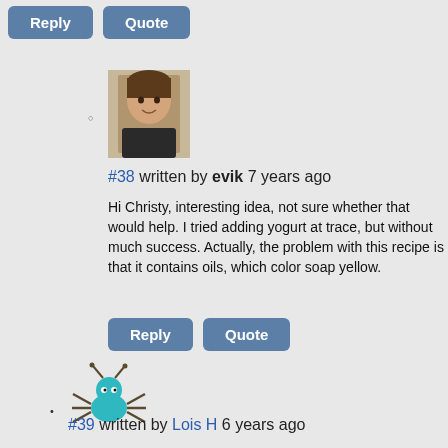Reply   Quote
#38 written by evik 7 years ago
Hi Christy, interesting idea, not sure whether that would help. I tried adding yogurt at trace, but without much success. Actually, the problem with this recipe is that it contains oils, which color soap yellow.
Reply   Quote
#39 written by Lois H 6 years ago
I have not tried yogurt yet, but I have been wanting to. I do make goat milk soaps. I usually leave them in the fridge for a week or more. I rarely have any problems with them being too soft leaving soap this long before unmolding. I don't think I would be able to leave it alone that long if it weren't for the fact that I have a second fridge. I hate to wait to unmold.